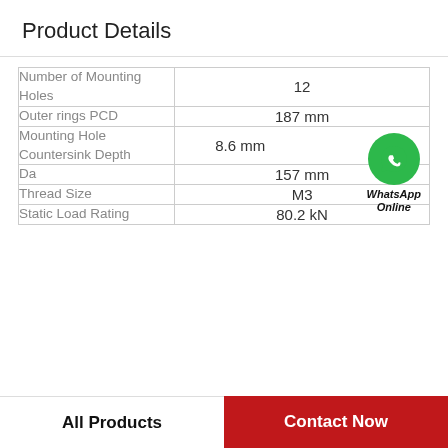Product Details
| Property | Value |
| --- | --- |
| Number of Mounting Holes | 12 |
| Outer rings PCD | 187 mm |
| Mounting Hole Countersink Depth | 8.6 mm |
| Da | 157 mm |
| Thread Size | M3 |
| Static Load Rating | 80.2 kN |
WhatsApp Online
All Products  |  Contact Now